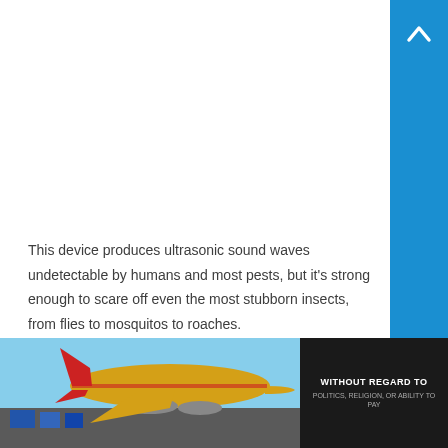This device produces ultrasonic sound waves undetectable by humans and most pests, but it's strong enough to scare off even the most stubborn insects, from flies to mosquitos to roaches.
This pest resister article will give you a complete review of the Ultrasonic Pest Resister Review...
[Figure (photo): Advertisement banner showing a cargo airplane being loaded, with text overlay reading 'WITHOUT REGARD TO POLITICS, RELIGION, OR ABILITY TO PAY']